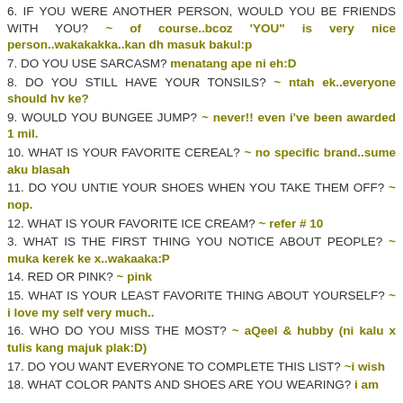6. IF YOU WERE ANOTHER PERSON, WOULD YOU BE FRIENDS WITH YOU? ~ of course..bcoz 'YOU' is very nice person..wakakakka..kan dh masuk bakul:p
7. DO YOU USE SARCASM? menatang ape ni eh:D
8. DO YOU STILL HAVE YOUR TONSILS? ~ ntah ek..everyone should hv ke?
9. WOULD YOU BUNGEE JUMP? ~ never!! even i've been awarded 1 mil.
10. WHAT IS YOUR FAVORITE CEREAL? ~ no specific brand..sume aku blasah
11. DO YOU UNTIE YOUR SHOES WHEN YOU TAKE THEM OFF? ~ nop.
12. WHAT IS YOUR FAVORITE ICE CREAM? ~ refer # 10
3. WHAT IS THE FIRST THING YOU NOTICE ABOUT PEOPLE? ~ muka kerek ke x..wakaaka:P
14. RED OR PINK? ~ pink
15. WHAT IS YOUR LEAST FAVORITE THING ABOUT YOURSELF? ~ i love my self very much..
16. WHO DO YOU MISS THE MOST? ~ aQeel & hubby (ni kalu x tulis kang majuk plak:D)
17. DO YOU WANT EVERYONE TO COMPLETE THIS LIST? ~i wish
18. WHAT COLOR PANTS AND SHOES ARE YOU WEARING? i am